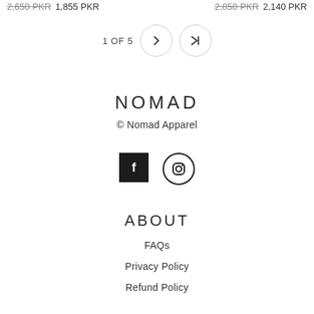2,650 PKR 1,855 PKR   2,850 PKR 2,140 PKR
1 OF 5
NOMAD
© Nomad Apparel
[Figure (logo): Facebook and Instagram social media icons]
ABOUT
FAQs
Privacy Policy
Refund Policy